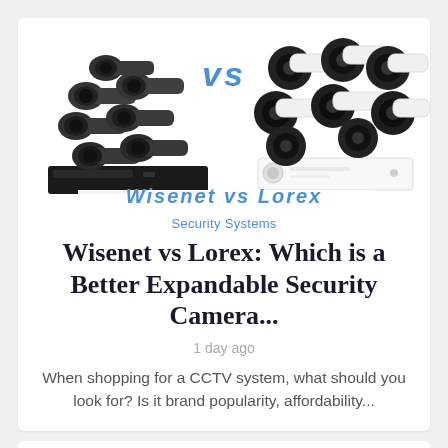[Figure (photo): Comparison image showing two security camera systems side by side with 'VS' text in blue between them. Left side shows dark/gray bullet cameras on a DVR recorder. Right side shows Lorex white/black bullet cameras with a white DVR. Below the image is partial text 'Wisenet vs Lorex' in blue italic.]
Security Systems
Wisenet vs Lorex: Which is a Better Expandable Security Camera...
1 day ago
When shopping for a CCTV system, what should you look for? Is it brand popularity, affordability...